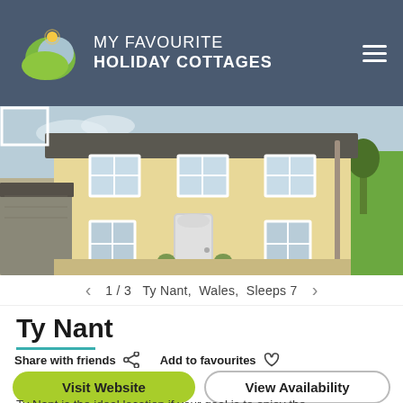[Figure (logo): My Favourite Holiday Cottages logo: circular icon with yellow sun, green hills, and grey sky above text]
MY FAVOURITE HOLIDAY COTTAGES
[Figure (photo): Exterior photo of Ty Nant cottage: a two-storey cream/yellow rendered farmhouse with grey slate roof and white-framed windows, green fields behind]
1 / 3  Ty Nant,  Wales,  Sleeps 7
Ty Nant
Share with friends
Add to favourites
Visit Website
View Availability
Ty Nant is the ideal location if your goal is to enjoy the